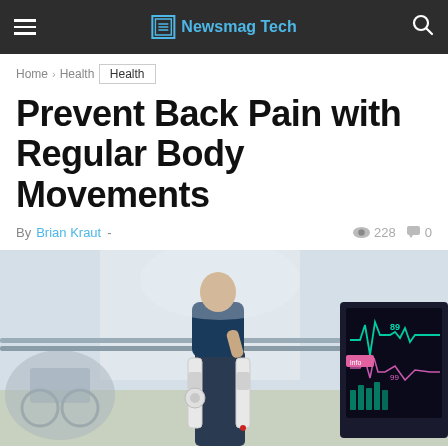Newsmag Tech
Home › Health
Health
Prevent Back Pain with Regular Body Movements
By Brian Kraut - 228 views 0 comments
[Figure (photo): Person wearing a robotic exoskeleton walking between parallel bars in a medical rehabilitation setting, with a medical monitor displaying ECG and vital signs visible on the right side of the image.]